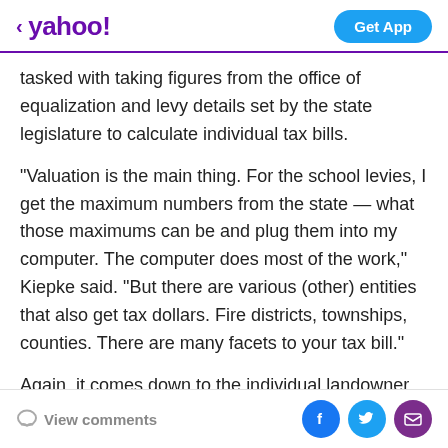< yahoo!  Get App
tasked with taking figures from the office of equalization and levy details set by the state legislature to calculate individual tax bills.
"Valuation is the main thing. For the school levies, I get the maximum numbers from the state — what those maximums can be and plug them into my computer. The computer does most of the work," Kiepke said. "But there are various (other) entities that also get tax dollars. Fire districts, townships, counties. There are many facets to your tax bill."
Again, it comes down to the individual landowner, their holdings and the condition and value of their property.
View comments